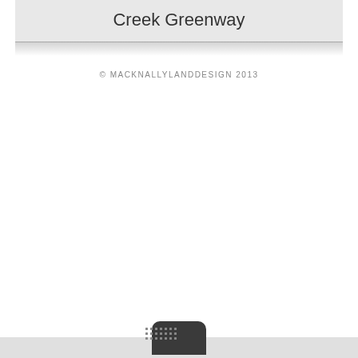Creek Greenway
© MACKNALLYLANDDESIGN 2013